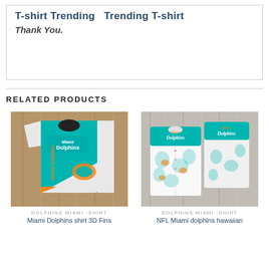T-shirt Trending  Trending T-shirt
Thank You.
RELATED PRODUCTS
[Figure (photo): Miami Dolphins 3D T-shirt displayed against wood background]
DOLPHINS MIAMI -SHIRT
Miami Dolphins shirt 3D Fins
[Figure (photo): NFL Miami Dolphins hawaiian shirt shown front and back against wood background]
DOLPHINS MIAMI -SHIRT
NFL Miami dolphins hawaiian